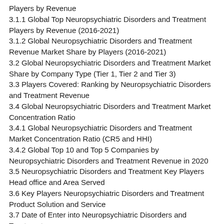Players by Revenue
3.1.1 Global Top Neuropsychiatric Disorders and Treatment Players by Revenue (2016-2021)
3.1.2 Global Neuropsychiatric Disorders and Treatment Revenue Market Share by Players (2016-2021)
3.2 Global Neuropsychiatric Disorders and Treatment Market Share by Company Type (Tier 1, Tier 2 and Tier 3)
3.3 Players Covered: Ranking by Neuropsychiatric Disorders and Treatment Revenue
3.4 Global Neuropsychiatric Disorders and Treatment Market Concentration Ratio
3.4.1 Global Neuropsychiatric Disorders and Treatment Market Concentration Ratio (CR5 and HHI)
3.4.2 Global Top 10 and Top 5 Companies by Neuropsychiatric Disorders and Treatment Revenue in 2020
3.5 Neuropsychiatric Disorders and Treatment Key Players Head office and Area Served
3.6 Key Players Neuropsychiatric Disorders and Treatment Product Solution and Service
3.7 Date of Enter into Neuropsychiatric Disorders and Treatment